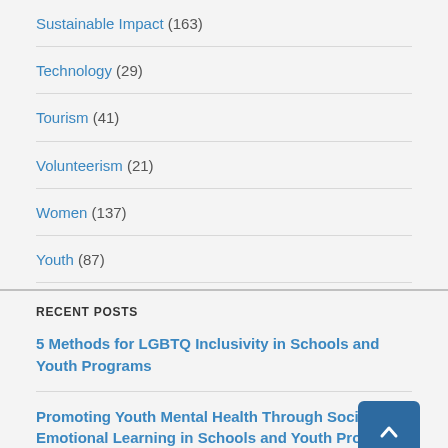Sustainable Impact (163)
Technology (29)
Tourism (41)
Volunteerism (21)
Women (137)
Youth (87)
RECENT POSTS
5 Methods for LGBTQ Inclusivity in Schools and Youth Programs
Promoting Youth Mental Health Through Social-Emotional Learning in Schools and Youth Programs